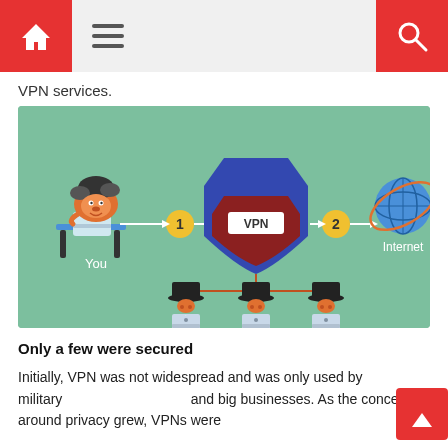Navigation bar with home icon, menu icon, and search icon
VPN services.
[Figure (infographic): Infographic on green background showing a cartoon hedgehog (labeled 'You') at a laptop, connected via step 1 arrow to a large blue VPN shield in the center, then via step 2 arrow to a globe (labeled 'Internet'). Below the VPN shield, lines branch down to three figures with hats at laptops labeled 'Corporate', 'Hackers', and 'Government'.]
Only a few were secured
Initially, VPN was not widespread and was only used by military and big businesses. As the concern around privacy grew, VPNs were